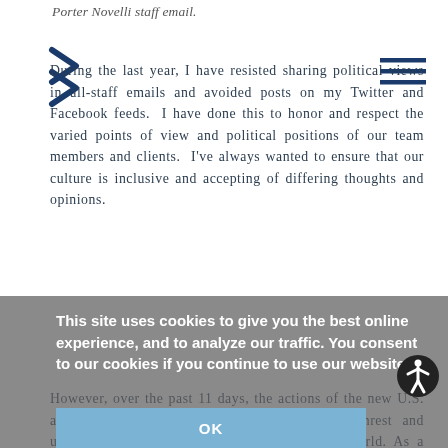Porter Novelli staff email.
[Figure (illustration): Double right-pointing chevron arrow icon in navy blue]
[Figure (illustration): Hamburger menu icon (three horizontal lines) in navy blue]
During the last year, I have resisted sharing political views in all-staff emails and avoided posts on my Twitter and Facebook feeds.  I have done this to honor and respect the varied points of view and political positions of our team members and clients.  I've always wanted to ensure that our culture is inclusive and accepting of differing thoughts and opinions.
However, over the past 11 days, the actions of the new U.S. administration have created a great deal of unrest and uncertainty—here in America and around the world. As a global organization with a purpose of social good, we must recognize the political reverberations extend far beyond U.S. borders and are not simply political.
This site uses cookies to give you the best online experience, and to analyze our traffic. You consent to our cookies if you continue to use our website.
Privacy Policies
OK
Recent actions have affected PN colleagues and team members around the world on a personal